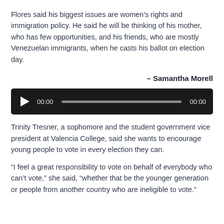Flores said his biggest issues are women's rights and immigration policy. He said he will be thinking of his mother, who has few opportunities, and his friends, who are mostly Venezuelan immigrants, when he casts his ballot on election day.
– Samantha Morell
[Figure (other): Audio player widget with dark background, play button, timestamp 00:00, progress bar, and end timestamp 00:00]
Trinity Tresner, a sophomore and the student government vice president at Valencia College, said she wants to encourage young people to vote in every election they can.
“I feel a great responsibility to vote on behalf of everybody who can’t vote,” she said, “whether that be the younger generation or people from another country who are ineligible to vote.”